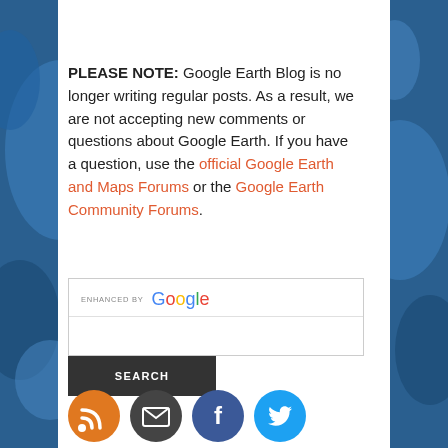PLEASE NOTE: Google Earth Blog is no longer writing regular posts. As a result, we are not accepting new comments or questions about Google Earth. If you have a question, use the official Google Earth and Maps Forums or the Google Earth Community Forums.
[Figure (screenshot): Enhanced by Google search bar with SEARCH button]
[Figure (infographic): Social media icons: RSS (orange), Email (dark gray), Facebook (blue), Twitter (light blue)]